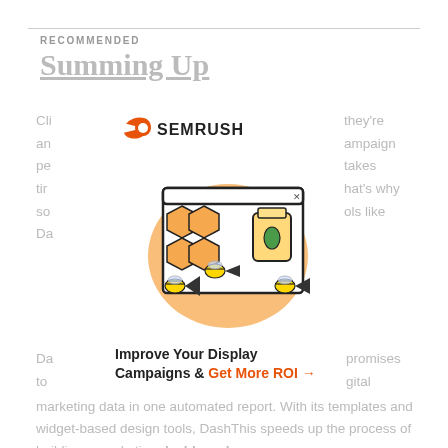RECOMMENDED
Summing Up
[Figure (illustration): SEMrush advertisement with logo, bee/honeycomb illustration, and CTA: Improve Your Display Campaigns & Get More ROI]
Cli an pe tir so Da they're ampaign takes hat's why ols like
Da to promises gital marketing data in one automated report. With its templates and widget-based design tools, DashThis speeds up the process of building a marketing dashboard.